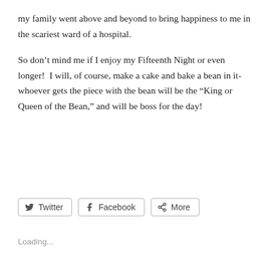my family went above and beyond to bring happiness to me in the scariest ward of a hospital.
So don’t mind me if I enjoy my Fifteenth Night or even longer!  I will, of course, make a cake and bake a bean in it- whoever gets the piece with the bean will be the “King or Queen of the Bean,” and will be boss for the day!
[Figure (other): Social sharing buttons: Twitter, Facebook, More]
Loading...